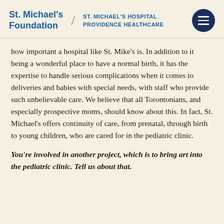St. Michael's Foundation / ST. MICHAEL'S HOSPITAL PROVIDENCE HEALTHCARE
how important a hospital like St. Mike's is. In addition to it being a wonderful place to have a normal birth, it has the expertise to handle serious complications when it comes to deliveries and babies with special needs, with staff who provide such unbelievable care. We believe that all Torontonians, and especially prospective moms, should know about this. In fact, St. Michael's offers continuity of care, from prenatal, through birth to young children, who are cared for in the pediatric clinic.
You're involved in another project, which is to bring art into the pediatric clinic. Tell us about that.